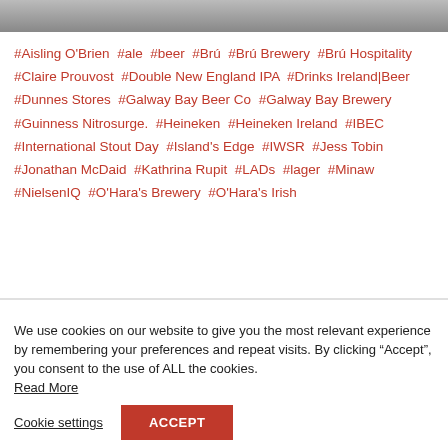[Figure (photo): Partial photo of beer/brewery items at top of page]
#Aisling O'Brien  #ale  #beer  #Brú  #Brú Brewery  #Brú Hospitality  #Claire Prouvost  #Double New England IPA  #Drinks Ireland|Beer  #Dunnes Stores  #Galway Bay Beer Co  #Galway Bay Brewery  #Guinness Nitrosurge.  #Heineken  #Heineken Ireland  #IBEC  #International Stout Day  #Island's Edge  #IWSR  #Jess Tobin  #Jonathan McDaid  #Kathrina Rupit  #LADs  #lager  #Minaw  #NielsenIQ  #O'Hara's Brewery  #O'Hara's Irish
We use cookies on our website to give you the most relevant experience by remembering your preferences and repeat visits. By clicking "Accept", you consent to the use of ALL the cookies. Read More
Cookie settings
ACCEPT